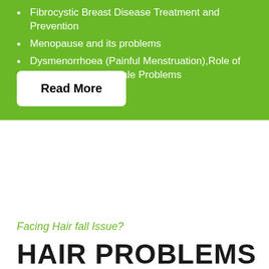Fibrocystic Breast Disease Treatment and Prevention
Menopause and its problems
Dysmenorrhoea (Painful Menstruation),Role of Homeopathy in Female Problems
Read More
Facing Hair fall Issue?
HAIR PROBLEMS